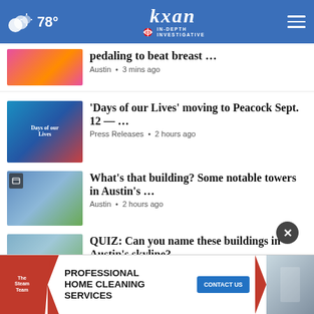78° KXAN IN-DEPTH INVESTIGATIVE
pedaling to beat breast … | Austin • 3 mins ago
'Days of our Lives' moving to Peacock Sept. 12 — … | Press Releases • 2 hours ago
What's that building? Some notable towers in Austin's … | Austin • 2 hours ago
QUIZ: Can you name these buildings in Austin's skyline? | Austin • 2 hours ago
La Niña vs El Niño: What's the difference between … | First Warning Weather University • 2 hours ago
Samsung hosting job fair at …
[Figure (screenshot): Advertisement for The Steam Team: Professional Home Cleaning Services with Contact Us button]
Austin City Council holds …